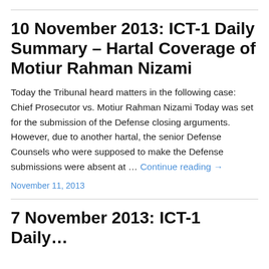10 November 2013: ICT-1 Daily Summary – Hartal Coverage of Motiur Rahman Nizami
Today the Tribunal heard matters in the following case: Chief Prosecutor vs. Motiur Rahman Nizami Today was set for the submission of the Defense closing arguments. However, due to another hartal, the senior Defense Counsels who were supposed to make the Defense submissions were absent at … Continue reading →
November 11, 2013
7 November 2013: ICT-1 Daily…